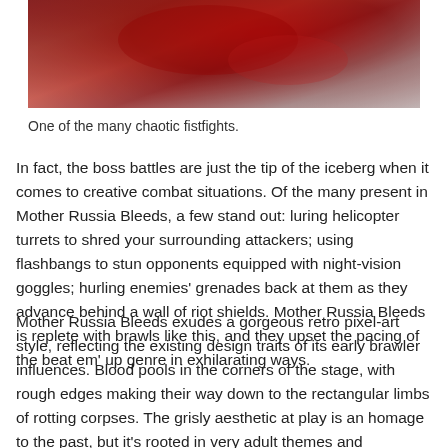[Figure (photo): A bloody red fistfight scene from a video game, showing a dark red and grayish blurred action image.]
One of the many chaotic fistfights.
In fact, the boss battles are just the tip of the iceberg when it comes to creative combat situations. Of the many present in Mother Russia Bleeds, a few stand out: luring helicopter turrets to shred your surrounding attackers; using flashbangs to stun opponents equipped with night-vision goggles; hurling enemies' grenades back at them as they advance behind a wall of riot shields. Mother Russia Bleeds is replete with brawls like this, and they upset the pacing of the beat em' up genre in exhilarating ways.
Mother Russia Bleeds exudes a gorgeous retro pixel-art style, reflecting the existing design traits of its early brawler influences. Blood pools in the corners of the stage, with rough edges making their way down to the rectangular limbs of rotting corpses. The grisly aesthetic at play is an homage to the past, but it's rooted in very adult themes and background